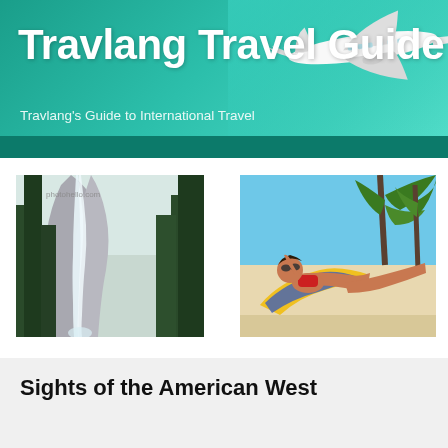Travlang Travel Guide
Travlang's Guide to International Travel
[Figure (photo): Waterfall scene with tall pine trees in a national park, with text 'photohello.com' watermark]
[Figure (photo): Woman in bikini relaxing on a beach chair on a sunny beach with palm trees]
[Figure (illustration): White commercial airplane flying in upper right of teal/green header banner]
Sights of the American West